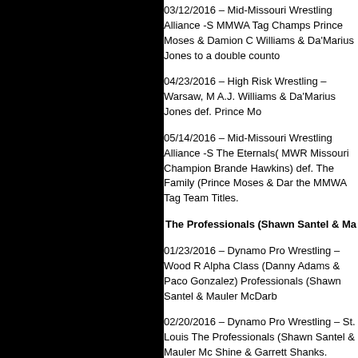03/12/2016 – Mid-Missouri Wrestling Alliance – MMWA Tag Champs Prince Moses & Damion C Williams & Da'Marius Jones to a double counto
04/23/2016 – High Risk Wrestling – Warsaw, M A.J. Williams & Da'Marius Jones def. Prince Mo
05/14/2016 – Mid-Missouri Wrestling Alliance – The Eternals( MWR Missouri Champion Brande Hawkins) def. The Family (Prince Moses & Dan the MMWA Tag Team Titles.
The Professionals (Shawn Santel & Ma
01/23/2016 – Dynamo Pro Wrestling – Wood R Alpha Class (Danny Adams & Paco Gonzalez) Professionals (Shawn Santel & Mauler McDarb
02/20/2016 – Dynamo Pro Wrestling – St. Louis The Professionals (Shawn Santel & Mauler Mc Shine & Garrett Shanks.
02/27/2016 – Dynamo Pro Wrestling – Wood R Shorty Biggs & C.J. Shine def. The Professiona Mauler McDarby).
04/02/2016 – Dynamo Pro Wrestling – Fenton